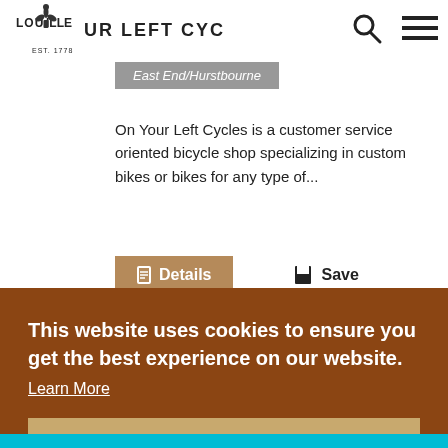On Your Left Cycles
LOUISVILLE EST. 1778
East End/Hurstbourne
On Your Left Cycles is a customer service oriented bicycle shop specializing in custom bikes or bikes for any type of...
Details  Save
This website uses cookies to ensure you get the best experience on our website. Learn More
Got it!